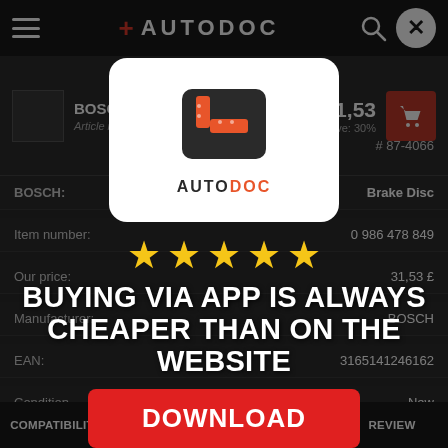AUTODOC
BOSCH Brake Disc — Article number: 0 986 478 849 — £ 31,53 — You Save: 30%
# 87-4066
BOSCH: Brake Disc
Item number: 0 986 478 849
Our price: 31,53 £
Manufacturer: BOSCH
EAN: 3165141246162
Condition: New
[Figure (logo): AUTODOC app logo — white rounded square card with orange and dark road/turn icon and AUTODOC text below]
★ ★ ★ ★ ★ (5 stars)
BUYING VIA APP IS ALWAYS CHEAPER THAN ON THE WEBSITE
DOWNLOAD
COMPATIBILITY   OEM NUMBER   VIDEOS   REVIEW